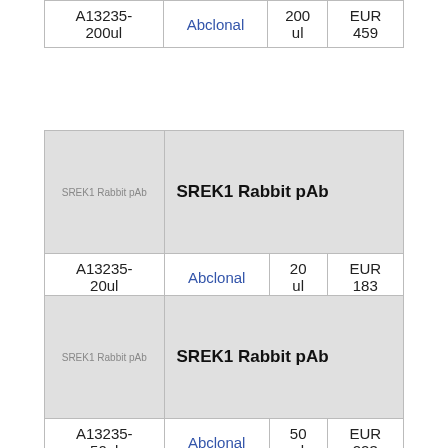| Catalog | Supplier | Volume | Price |
| --- | --- | --- | --- |
| A13235-200ul | Abclonal | 200 ul | EUR 459 |
| Image+Name | Catalog | Supplier | Volume | Price |
| --- | --- | --- | --- | --- |
| SREK1 Rabbit pAb | A13235-20ul | Abclonal | 20 ul | EUR 183 |
| Image+Name | Catalog | Supplier | Volume | Price |
| --- | --- | --- | --- | --- |
| SREK1 Rabbit pAb | A13235-50ul | Abclonal | 50 ul | EUR 223 |